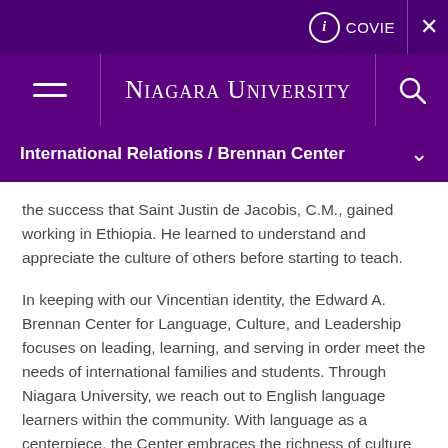COVID  ×
NIAGARA UNIVERSITY
International Relations / Brennan Center
the success that Saint Justin de Jacobis, C.M., gained working in Ethiopia. He learned to understand and appreciate the culture of others before starting to teach.
In keeping with our Vincentian identity, the Edward A. Brennan Center for Language, Culture, and Leadership focuses on leading, learning, and serving in order meet the needs of international families and students. Through Niagara University, we reach out to English language learners within the community. With language as a centerpiece, the Center embraces the richness of culture and language through our students, faculty, and